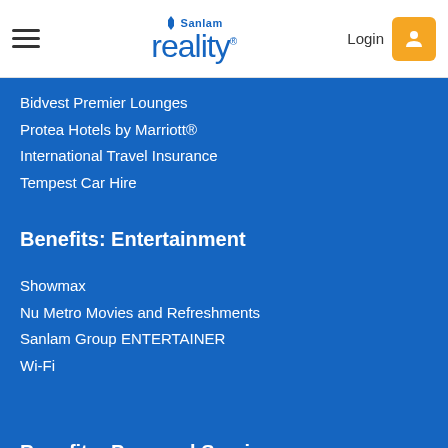Sanlam reality — Login
Bidvest Premier Lounges
Protea Hotels by Marriott®
International Travel Insurance
Tempest Car Hire
Benefits: Entertainment
Showmax
Nu Metro Movies and Refreshments
Sanlam Group ENTERTAINER
Wi-Fi
Benefits: Personal Services